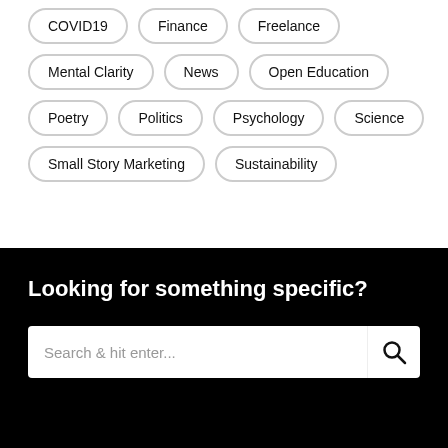COVID19
Finance
Freelance
Mental Clarity
News
Open Education
Poetry
Politics
Psychology
Science
Small Story Marketing
Sustainability
Looking for something specific?
Search & hit enter...